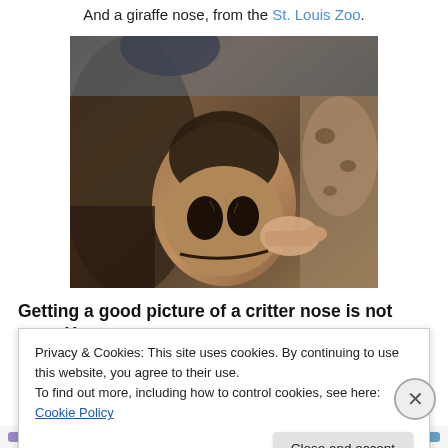And a giraffe nose, from the St. Louis Zoo.
[Figure (photo): Close-up photograph of a giraffe's nose being touched by a human hand, taken at the St. Louis Zoo. The giraffe's large nostrils and textured fur are visible in detail.]
Getting a good picture of a critter nose is not easy. You
Privacy & Cookies: This site uses cookies. By continuing to use this website, you agree to their use.
To find out more, including how to control cookies, see here: Cookie Policy
Close and accept